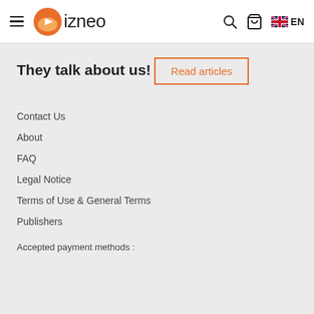izneo — hamburger menu, search, cart, EN language selector
They talk about us!
Read articles
Contact Us
About
FAQ
Legal Notice
Terms of Use & General Terms
Publishers
Accepted payment methods :